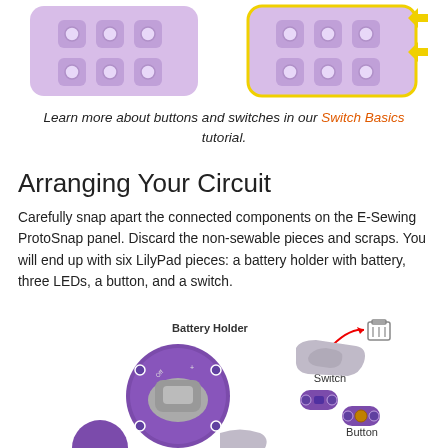[Figure (illustration): Two diagrams of an E-Sewing ProtoSnap panel side by side. Left shows a purple panel with snapping components. Right shows the same panel highlighted in yellow with yellow arrows indicating snap-apart action.]
Learn more about buttons and switches in our Switch Basics tutorial.
Arranging Your Circuit
Carefully snap apart the connected components on the E-Sewing ProtoSnap panel. Discard the non-sewable pieces and scraps. You will end up with six LilyPad pieces: a battery holder with battery, three LEDs, a button, and a switch.
[Figure (illustration): Diagram showing LilyPad components after snapping apart: a large circular purple Battery Holder, a gray switch piece labeled Switch with a red arrow pointing to a trash can icon, two small oval purple components (LEDs/button), and a Button labeled component. Additional partial components visible at bottom.]